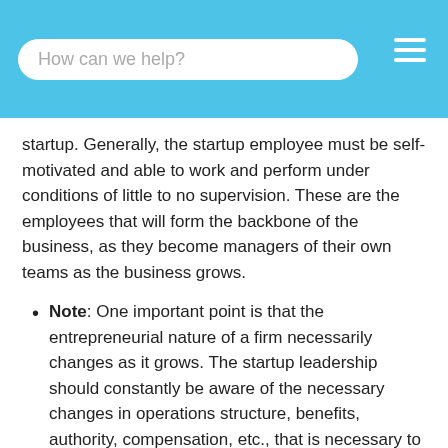How can we help?
startup. Generally, the startup employee must be self-motivated and able to work and perform under conditions of little to no supervision. These are the employees that will form the backbone of the business, as they become managers of their own teams as the business grows.
Note: One important point is that the entrepreneurial nature of a firm necessarily changes as it grows. The startup leadership should constantly be aware of the necessary changes in operations structure, benefits, authority, compensation, etc., that is necessary to motive the later stage startup employee.
Back to: Entrepreneurship
What are Contractors?